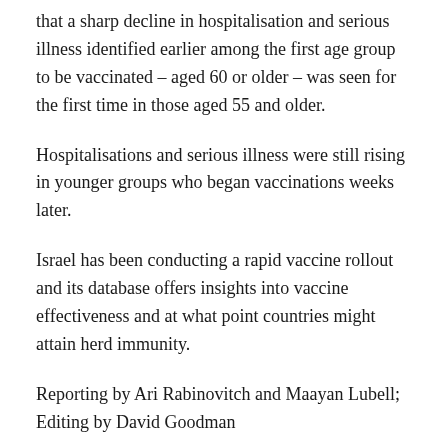that a sharp decline in hospitalisation and serious illness identified earlier among the first age group to be vaccinated – aged 60 or older – was seen for the first time in those aged 55 and older.
Hospitalisations and serious illness were still rising in younger groups who began vaccinations weeks later.
Israel has been conducting a rapid vaccine rollout and its database offers insights into vaccine effectiveness and at what point countries might attain herd immunity.
Reporting by Ari Rabinovitch and Maayan Lubell; Editing by David Goodman